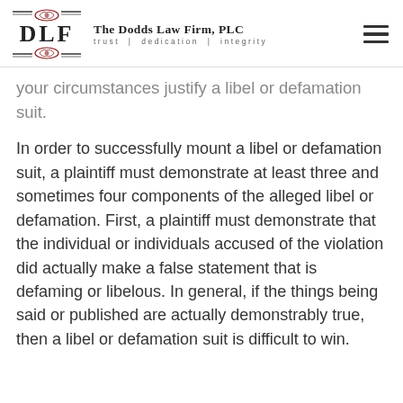The Dodds Law Firm, PLC — trust | dedication | integrity
your circumstances justify a libel or defamation suit.
In order to successfully mount a libel or defamation suit, a plaintiff must demonstrate at least three and sometimes four components of the alleged libel or defamation. First, a plaintiff must demonstrate that the individual or individuals accused of the violation did actually make a false statement that is defaming or libelous. In general, if the things being said or published are actually demonstrably true, then a libel or defamation suit is difficult to win.